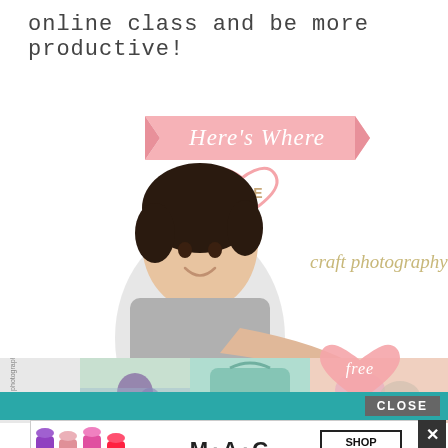online class and be more productive!
[Figure (illustration): Promotional graphic with a smiling woman pointing downward, a pink ribbon banner reading 'Here's Where', a pink heart outline with 'FREE' text, gold script 'craft photography' text, a smaller pink heart with 'free', and a bottom strip of craft/lifestyle photos.]
[Figure (screenshot): MAC cosmetics advertisement banner with lipsticks and 'SHOP NOW' button, with a CLOSE bar and X button overlay.]